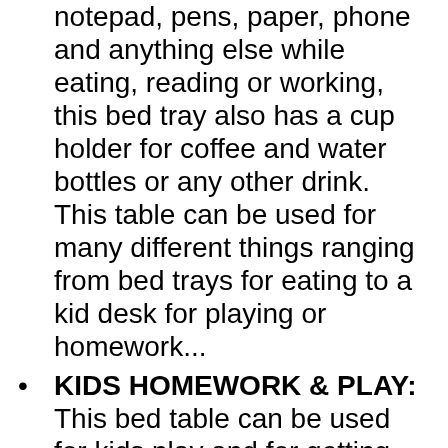notepad, pens, paper, phone and anything else while eating, reading or working, this bed tray also has a cup holder for coffee and water bottles or any other drink. This table can be used for many different things ranging from bed trays for eating to a kid desk for playing or homework...
KIDS HOMEWORK & PLAY: This bed table can be used for kids play and for getting kids excited to do their homework especially with the added drawer and cup holder, just watch your kids getting excited about work with this kid desk folding table. This kids bed tray can also be used for breakfast, dinner and a tv tray table while watching tv or can be used as a